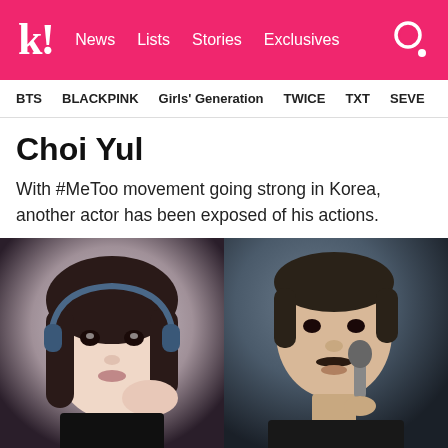k! News  Lists  Stories  Exclusives
BTS  BLACKPINK  Girls' Generation  TWICE  TXT  SEVE
Choi Yul
With #MeToo movement going strong in Korea, another actor has been exposed of his actions.
[Figure (photo): Two photos side by side: on the left, a young woman with dark hair wearing headphones, close-up selfie style; on the right, a middle-aged man with short dark hair and mustache speaking into a microphone.]